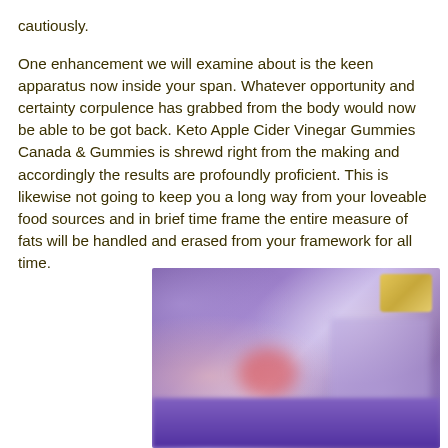cautiously. One enhancement we will examine about is the keen apparatus now inside your span. Whatever opportunity and certainty corpulence has grabbed from the body would now be able to be got back. Keto Apple Cider Vinegar Gummies Canada & Gummies is shrewd right from the making and accordingly the results are profoundly proficient. This is likewise not going to keep you a long way from your loveable food sources and in brief time frame the entire measure of fats will be handled and erased from your framework for all time.
[Figure (photo): A blurred promotional image with purple/violet background showing a product (Keto Apple Cider Vinegar Gummies Canada) with a gold badge in the top right corner and a figure visible on the left side.]